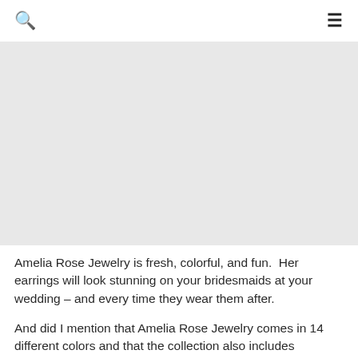🔍  ☰
[Figure (photo): Large image area, appears blank/white in this view]
Amelia Rose Jewelry is fresh, colorful, and fun.  Her earrings will look stunning on your bridesmaids at your wedding – and every time they wear them after.
And did I mention that Amelia Rose Jewelry comes in 14 different colors and that the collection also includes necklaces, rings and bracelets.  It is enough to make every